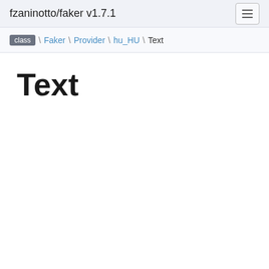fzaninotto/faker v1.7.1
class \ Faker \ Provider \ hu_HU \ Text
Text